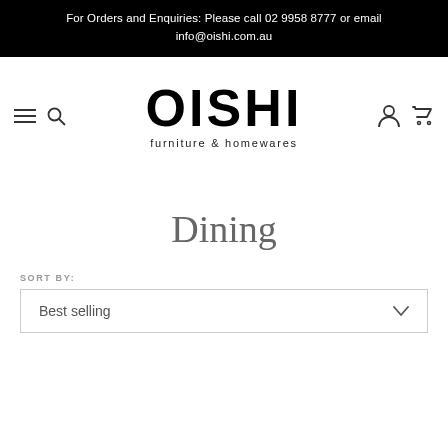For Orders and Enquiries: Please call 02 9958 8777 or email info@oishi.com.au
[Figure (logo): OISHI furniture & homewares logo with navigation icons (hamburger menu, search, user account, cart)]
Dining
SORT BY:
Best selling